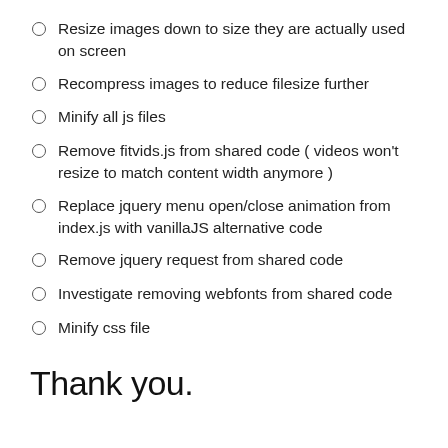Resize images down to size they are actually used on screen
Recompress images to reduce filesize further
Minify all js files
Remove fitvids.js from shared code ( videos won't resize to match content width anymore )
Replace jquery menu open/close animation from index.js with vanillaJS alternative code
Remove jquery request from shared code
Investigate removing webfonts from shared code
Minify css file
Thank you.